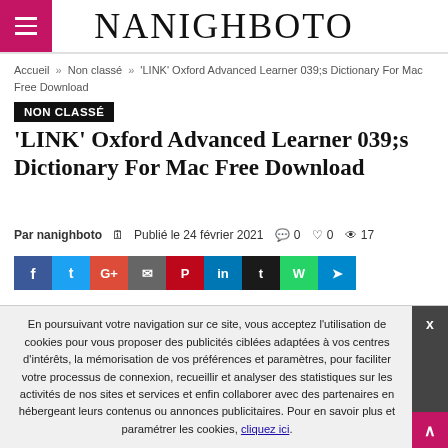NANIGHBOTO
Accueil » Non classé » 'LINK' Oxford Advanced Learner 039;s Dictionary For Mac Free Download
NON CLASSÉ
'LINK' Oxford Advanced Learner 039;s Dictionary For Mac Free Download
Par nanighboto  Publié le 24 février 2021  0  0  17
[Figure (other): Social media sharing buttons: Facebook, Twitter, Google+, Email, Pinterest, LinkedIn, Tumblr, WhatsApp, Telegram]
En poursuivant votre navigation sur ce site, vous acceptez l'utilisation de cookies pour vous proposer des publicités ciblées adaptées à vos centres d'intérêts, la mémorisation de vos préférences et paramètres, pour faciliter votre processus de connexion, recueillir et analyser des statistiques sur les activités de nos sites et services et enfin collaborer avec des partenaires en hébergeant leurs contenus ou annonces publicitaires. Pour en savoir plus et paramétrer les cookies, cliquez ici.